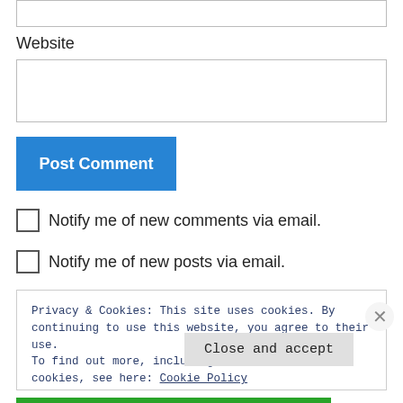[Figure (screenshot): Top partial input box (cropped at top)]
Website
[Figure (screenshot): Website text input box]
Post Comment
Notify me of new comments via email.
Notify me of new posts via email.
Privacy & Cookies: This site uses cookies. By continuing to use this website, you agree to their use.
To find out more, including how to control cookies, see here: Cookie Policy
Close and accept